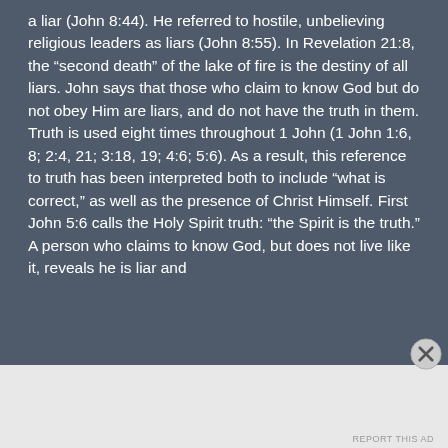a liar (John 8:44). He referred to hostile, unbelieving religious leaders as liars (John 8:55). In Revelation 21:8, the “second death” of the lake of fire is the destiny of all liars. John says that those who claim to know God but do not obey Him are liars, and do not have the truth in them. Truth is used eight times throughout 1 John (1 John 1:6, 8; 2:4, 21; 3:18, 19; 4:6; 5:6). As a result, this reference to truth has been interpreted both to include “what is correct,” as well as the presence of Christ Himself. First John 5:6 calls the Holy Spirit truth: “the Spirit is the truth.” A person who claims to know God, but does not live like it, reveals he is liar and